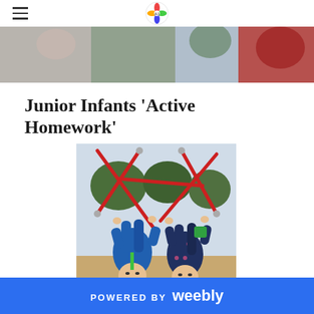[Figure (photo): Banner photo of children outdoors, partially cropped at top, showing children in colourful jackets]
Junior Infants 'Active Homework'
[Figure (photo): Two children hanging upside down on red rope climbing frame in a playground, smiling at the camera]
POWERED BY weebly